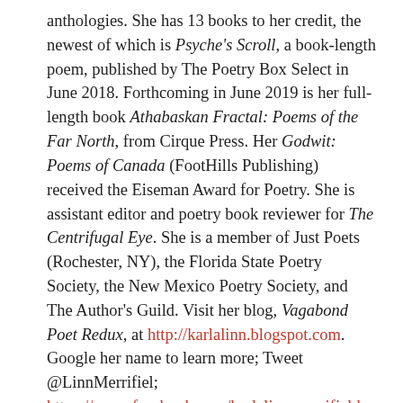anthologies. She has 13 books to her credit, the newest of which is Psyche's Scroll, a book-length poem, published by The Poetry Box Select in June 2018. Forthcoming in June 2019 is her full-length book Athabaskan Fractal: Poems of the Far North, from Cirque Press. Her Godwit: Poems of Canada (FootHills Publishing) received the Eiseman Award for Poetry. She is assistant editor and poetry book reviewer for The Centrifugal Eye. She is a member of Just Poets (Rochester, NY), the Florida State Poetry Society, the New Mexico Poetry Society, and The Author's Guild. Visit her blog, Vagabond Poet Redux, at http://karlalinn.blogspot.com. Google her name to learn more; Tweet @LinnMerrifiel; https://www.facebook.com/karlalinn.merrifield.